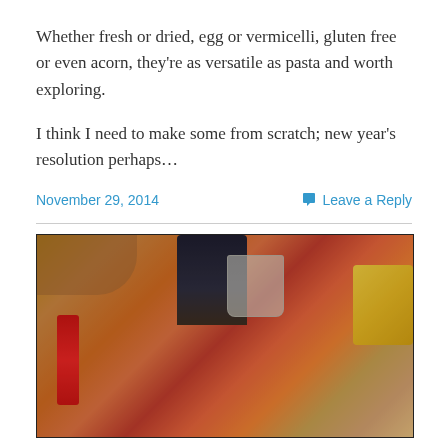Whether fresh or dried, egg or vermicelli, gluten free or even acorn, they're as versatile as pasta and worth exploring.
I think I need to make some from scratch; new year's resolution perhaps…
November 29, 2014
Leave a Reply
[Figure (photo): Close-up photo of crab legs/seafood on a plate with a red cracker tool, a plastic cup, dark bottles in the background, and a yellow item (possibly corn) to the right.]